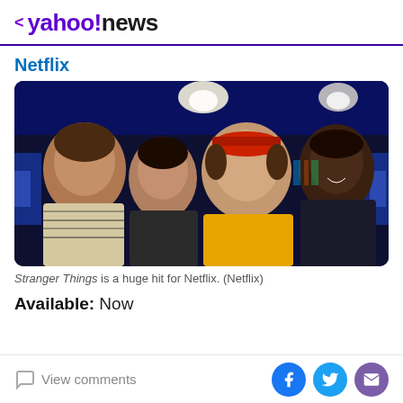< yahoo!news
Netflix
[Figure (photo): Four boys from Stranger Things looking forward in a dark, blue-lit scene. The boy on the left wears a striped shirt, the second boy is in a dark jacket, the third boy in the center wears a yellow shirt and a red cap, and the boy on the right is in a dark jacket. Blue lights are visible in the background.]
Stranger Things is a huge hit for Netflix. (Netflix)
Available: Now
View comments